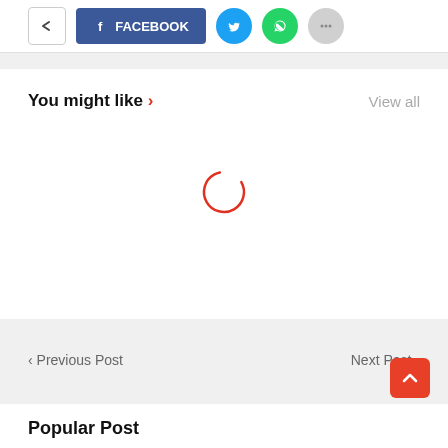[Figure (screenshot): Social share buttons row: back arrow button, Facebook share button (blue), Twitter button (blue circle), WhatsApp button (green circle), more button (gray circle)]
[Figure (screenshot): You might like section with View all link and a loading spinner (red circle arc) in the center of the content area]
‹ Previous Post
Next Post ›
[Figure (screenshot): Scroll to top button - orange/red rounded square with upward chevron arrow]
Popular Post